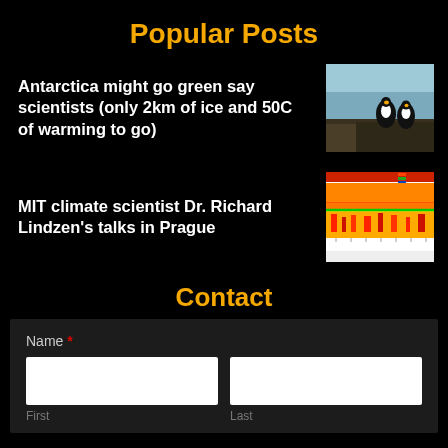Popular Posts
Antarctica might go green say scientists (only 2km of ice and 50C of warming to go)
[Figure (photo): Penguins on rocky Antarctic terrain against a grey-blue sky]
MIT climate scientist Dr. Richard Lindzen's talks in Prague
[Figure (other): Climate data chart with heat map colors showing temperature spectrum, red and yellow gradients with green lines]
Contact
Name *
First
Last